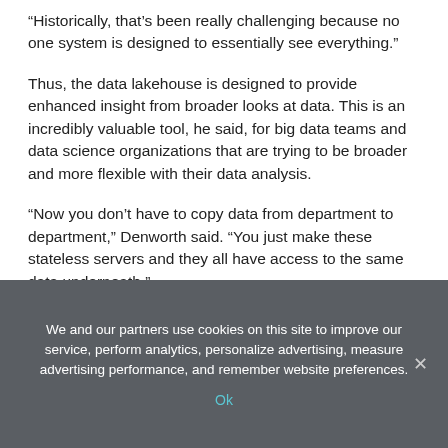“Historically, that’s been really challenging because no one system is designed to essentially see everything.”
Thus, the data lakehouse is designed to provide enhanced insight from broader looks at data. This is an incredibly valuable tool, he said, for big data teams and data science organizations that are trying to be broader and more flexible with their data analysis.
“Now you don’t have to copy data from department to department,” Denworth said. “You just make these stateless servers and they all have access to the same data underneath.”
We and our partners use cookies on this site to improve our service, perform analytics, personalize advertising, measure advertising performance, and remember website preferences.
Ok